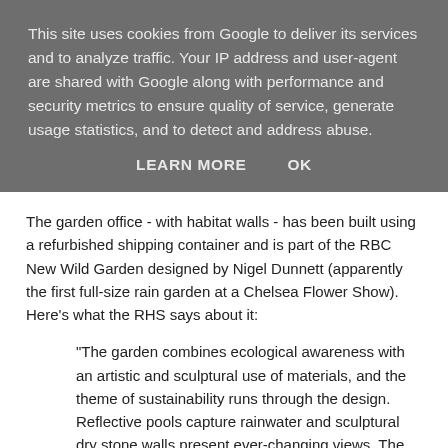This site uses cookies from Google to deliver its services and to analyze traffic. Your IP address and user-agent are shared with Google along with performance and security metrics to ensure quality of service, generate usage statistics, and to detect and address abuse.
LEARN MORE   OK
The garden office - with habitat walls - has been built using a refurbished shipping container and is part of the RBC New Wild Garden designed by Nigel Dunnett (apparently the first full-size rain garden at a Chelsea Flower Show). Here's what the RHS says about it:
"The garden combines ecological awareness with an artistic and sculptural use of materials, and the theme of sustainability runs through the design. Reflective pools capture rainwater and sculptural dry stone walls present ever-changing views. The garden takes inspiration from the planting ideas of Victorian horticulturist William